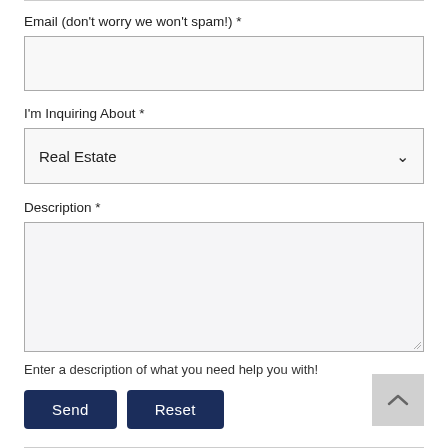Email (don't worry we won't spam!) *
I'm Inquiring About *
Real Estate
Description *
Enter a description of what you need help you with!
Send
Reset